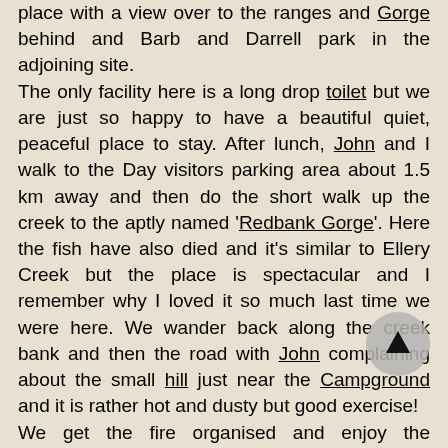place with a view over to the ranges and Gorge behind and Barb and Darrell park in the adjoining site. The only facility here is a long drop toilet but we are just so happy to have a beautiful quiet, peaceful place to stay. After lunch, John and I walk to the Day visitors parking area about 1.5 km away and then do the short walk up the creek to the aptly named 'Redbank Gorge'. Here the fish have also died and it's similar to Ellery Creek but the place is spectacular and I remember why I loved it so much last time we were here. We wander back along the creek bank and then the road with John complaining about the small hill just near the Campground and it is rather hot and dusty but good exercise! We get the fire organised and enjoy the environment despite other campers arriving. Two young brothers set a small tent up near our van and I offer to heat water and their evening meal as they have today done the Mt Sonder walk as day 1 of their Larapinta Trail hike and are pretty tired. This causes lewd remarks from John and Darrell who fantasise about my intentions with two young men however I am always mindful of the welfare of such adventurers who seem so naive and unprepared and treat them the way I would like someone to look